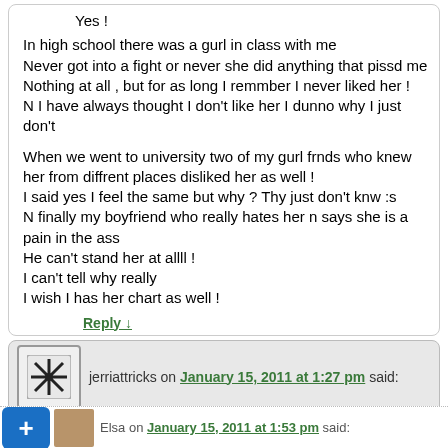Yes !
In high school there was a gurl in class with me
Never got into a fight or never she did anything that pissd me
Nothing at all , but for as long I remmber I never liked her !
N I have always thought I don't like her I dunno why I just don't

When we went to university two of my gurl frnds who knew her from diffrent places disliked her as well !
I said yes I feel the same but why ? Thy just don't knw :s
N finally my boyfriend who really hates her n says she is a pain in the ass
He can't stand her at allll !
I can't tell why really
I wish I has her chart as well !
Reply ↓
jerriattricks on January 15, 2011 at 1:27 pm said:
Yes! I've analyzed the hell out of it too, keeping my own dark side in check…nothing. Just a chemistry thing I guess. When I analyzed her chart I could kinda tell why, I think. Eh
Reply ↓
Elsa on January 15, 2011 at 1:53 pm said: